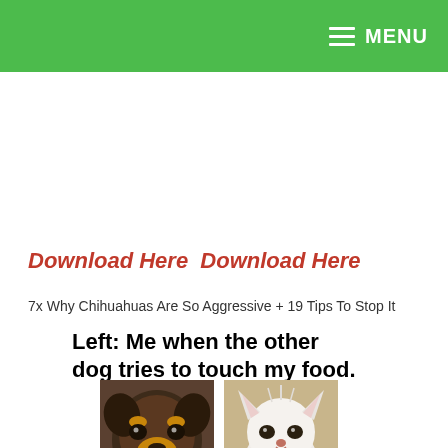MENU
Download Here  Download Here
7x Why Chihuahuas Are So Aggressive + 19 Tips To Stop It
Left: Me when the other dog tries to touch my food.
[Figure (photo): Two chihuahua photos side by side: left shows an angry/snarling black and tan chihuahua, right shows a white fluffy chihuahua puppy.]